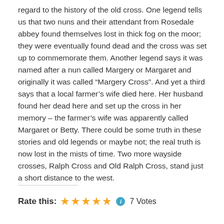regard to the history of the old cross. One legend tells us that two nuns and their attendant from Rosedale abbey found themselves lost in thick fog on the moor; they were eventually found dead and the cross was set up to commemorate them. Another legend says it was named after a nun called Margery or Margaret and originally it was called “Margery Cross”. And yet a third says that a local farmer’s wife died here. Her husband found her dead here and set up the cross in her memory – the farmer’s wife was apparently called Margaret or Betty. There could be some truth in these stories and old legends or maybe not; the real truth is now lost in the mists of time. Two more wayside crosses, Ralph Cross and Old Ralph Cross, stand just a short distance to the west.
Rate this: ★★★★★ ℹ 7 Votes